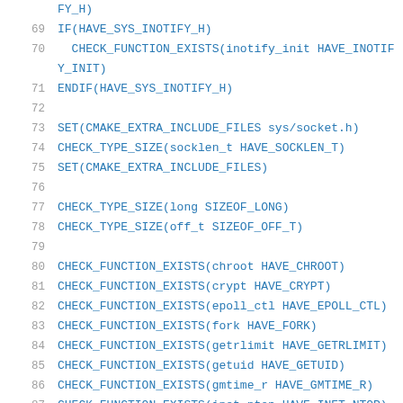FY_H)
69    IF(HAVE_SYS_INOTIFY_H)
70      CHECK_FUNCTION_EXISTS(inotify_init HAVE_INOTIFY_INIT)
71    ENDIF(HAVE_SYS_INOTIFY_H)
72
73    SET(CMAKE_EXTRA_INCLUDE_FILES sys/socket.h)
74    CHECK_TYPE_SIZE(socklen_t HAVE_SOCKLEN_T)
75    SET(CMAKE_EXTRA_INCLUDE_FILES)
76
77    CHECK_TYPE_SIZE(long SIZEOF_LONG)
78    CHECK_TYPE_SIZE(off_t SIZEOF_OFF_T)
79
80    CHECK_FUNCTION_EXISTS(chroot HAVE_CHROOT)
81    CHECK_FUNCTION_EXISTS(crypt HAVE_CRYPT)
82    CHECK_FUNCTION_EXISTS(epoll_ctl HAVE_EPOLL_CTL)
83    CHECK_FUNCTION_EXISTS(fork HAVE_FORK)
84    CHECK_FUNCTION_EXISTS(getrlimit HAVE_GETRLIMIT)
85    CHECK_FUNCTION_EXISTS(getuid HAVE_GETUID)
86    CHECK_FUNCTION_EXISTS(gmtime_r HAVE_GMTIME_R)
87    CHECK_FUNCTION_EXISTS(inet_ntop HAVE_INET_NTOP)
88    CHECK_FUNCTION_EXISTS(kqueue HAVE_KQUEUE)
89    CHECK_FUNCTION_EXISTS(localtime... HAVE_LOCALTIME